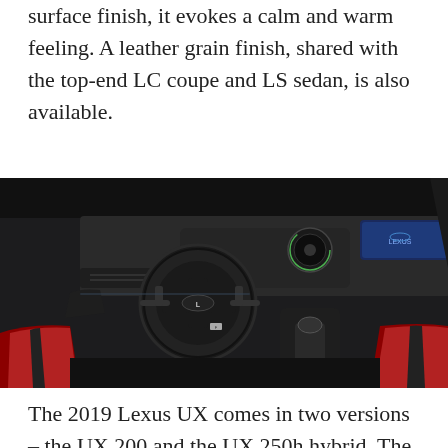surface finish, it evokes a calm and warm feeling. A leather grain finish, shared with the top-end LC coupe and LS sedan, is also available.
[Figure (photo): Interior of the 2019 Lexus UX showing the dashboard with Lexus infotainment screen, steering wheel with Lexus logo, and red and black sport seats in the foreground.]
The 2019 Lexus UX comes in two versions – the UX 200 and the UX 250h hybrid. The UX 200